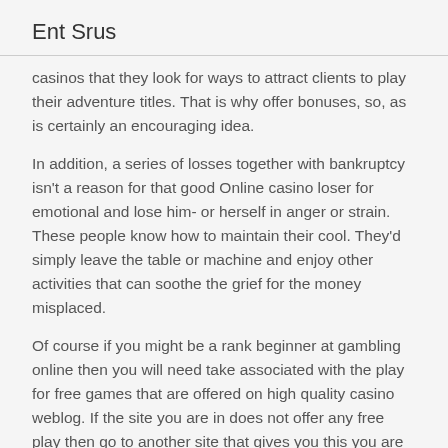Ent Srus
casinos that they look for ways to attract clients to play their adventure titles. That is why offer bonuses, so, as is certainly an encouraging idea.
In addition, a series of losses together with bankruptcy isn't a reason for that good Online casino loser for emotional and lose him- or herself in anger or strain. These people know how to maintain their cool. They'd simply leave the table or machine and enjoy other activities that can soothe the grief for the money misplaced.
Of course if you might be a rank beginner at gambling online then you will need take associated with the play for free games that are offered on high quality casino weblog. If the site you are in does not offer any free play then go to another site that gives you this you are buying. And then